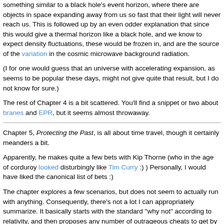something similar to a black hole's event horizon, where there are objects in space expanding away from us so fast that their light will never reach us. This is followed up by an even odder explanation that since this would give a thermal horizon like a black hole, and we know to expect density fluctuations, these would be frozen in, and are the source of the variations in the cosmic microwave background radiation.
(I for one would guess that an universe with accelerating expansion, as seems to be popular these days, might not give quite that result, but I do not know for sure.)
The rest of Chapter 4 is a bit scattered. You'll find a snippet or two about branes and EPR, but it seems almost throwaway.
Chapter 5, Protecting the Past, is all about time travel, though it certainly meanders a bit.
Apparently, he makes quite a few bets with Kip Thorne (who in the age of corduroy looked disturbingly like Tim Curry :) ) Personally, I would have liked the canonical list of bets :)
The chapter explores a few scenarios, but does not seem to actually run with anything. Consequently, there's not a lot I can appropriately summarize. It basically starts with the standard "why not" according to relativity, and then proposes any number of outrageous cheats to get by this, and what sort of time travel some of these might produce, such as looping Groundhog Day-like over a history of finite duration.
On page 146, why can't you use a time machine with a closed light ray path?